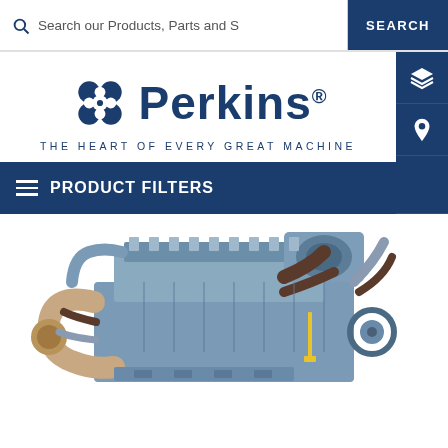Search our Products, Parts and S   SEARCH
[Figure (logo): Perkins logo with interlocking circular symbol and text 'Perkins®' and tagline 'THE HEART OF EVERY GREAT MACHINE']
PRODUCT FILTERS
[Figure (photo): Perkins diesel engine photograph showing a complex multi-cylinder engine with turbocharger, hoses, and various engine components in blue/silver coloring]